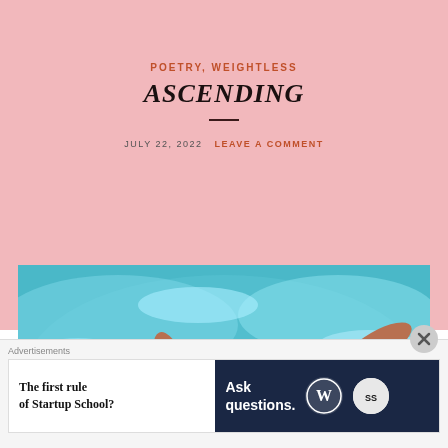POETRY, WEIGHTLESS
ASCENDING
JULY 22, 2022   LEAVE A COMMENT
[Figure (photo): A woman floating on her back in a swimming pool, wearing a floral sheer dress, with her arms spread and eyes closed, viewed from above. Turquoise water surrounds her.]
Advertisements
The first rule of Startup School?   Ask questions.